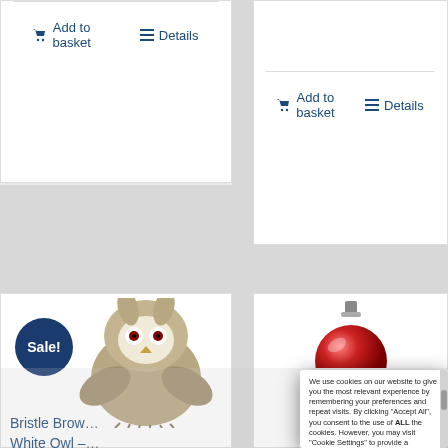Add to basket
Details
Add to basket
Details
[Figure (photo): Bristle Brown White Owl stuffed animal toy on white background with Sale badge]
Bristle Brow...
White Owl –...
£9.99  £6.99
[Figure (photo): Red round ornament/ball on white background]
We use cookies on our website to give you the most relevant experience by remembering your preferences and repeat visits. By clicking "Accept All", you consent to the use of ALL the cookies. However, you may visit "Cookie Settings" to provide a controlled consent. Read our Privacy Policy here: Read More
Accept All
Settings